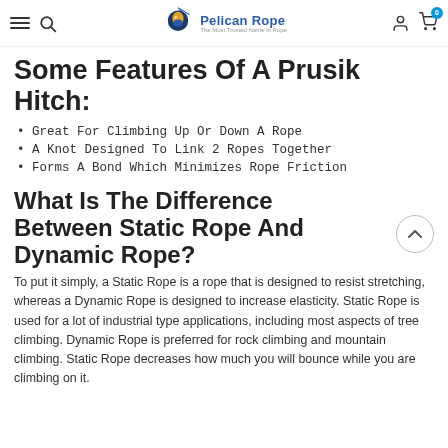Pelican Rope — The Most Trusted Name in Rope
Some Features Of A Prusik Hitch:
Great For Climbing Up Or Down A Rope
A Knot Designed To Link 2 Ropes Together
Forms A Bond Which Minimizes Rope Friction
What Is The Difference Between Static Rope And Dynamic Rope?
To put it simply, a Static Rope is a rope that is designed to resist stretching, whereas a Dynamic Rope is designed to increase elasticity. Static Rope is used for a lot of industrial type applications, including most aspects of tree climbing. Dynamic Rope is preferred for rock climbing and mountain climbing. Static Rope decreases how much you will bounce while you are climbing on it.